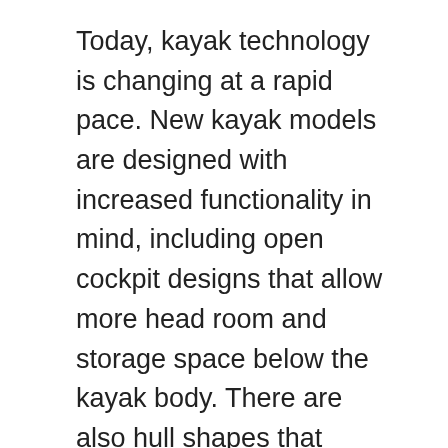Today, kayak technology is changing at a rapid pace. New kayak models are designed with increased functionality in mind, including open cockpit designs that allow more head room and storage space below the kayak body. There are also hull shapes that mimic the general shape of sit-on top or sit-on-side kayaks, and those that are flat bottomed to reduce the visibility of the driver when entering or leaving the kayak. Some kayaks are designed with provision for rudder systems. Whatever the model, most kayaks are fastened to the shore with tie-down straps that prevent movement when the kayak is in motion.
Kayaks can be used for many recreational activities, but the most popular among them are